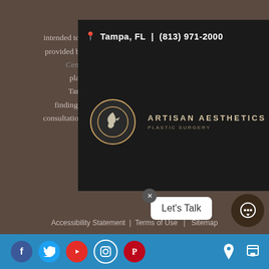Tampa, FL | (813) 971-2000
[Figure (logo): Artisan Aesthetics Plastic Surgery logo with bird emblem and navigation hamburger menu]
Disclaimer: The information provided on this website is not intended to be taken as medical advice. The information provided by Artisan Aesthetics Plastic Surgery & Laser Center is educational in nature and provides information regarding plastic surgery and the aesthetic needs of the residents of Tampa and surrounding communities. If you are interested in finding out more, please contact us for a personal consultation. This website is not intended for viewing or usage by European Union citizens.
Accessibility Statement | Terms of Use | Sitemap
Social media links: Facebook, Twitter, YouTube, Instagram, Pinterest